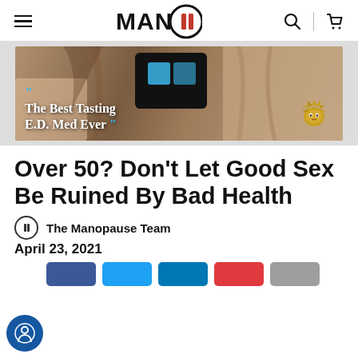MAN II — navigation header with hamburger menu, logo, search and cart icons
[Figure (photo): Banner advertisement showing 'The Best Tasting E.D. Med Ever' with a lion logo on a tanned fabric background with a blue packet.]
Over 50? Don't Let Good Sex Be Ruined By Bad Health
The Manopause Team
April 23, 2021